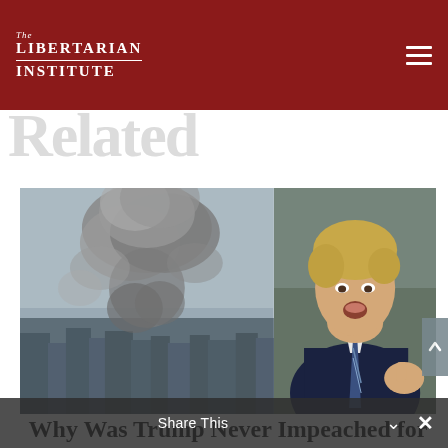The Libertarian Institute
Related
[Figure (photo): Composite image: left side shows a war scene with large smoke explosion rising over a city skyline; right side shows Donald Trump in a suit giving a thumbs up gesture]
Why Was Trump Never Impeached for Murdering
Share This